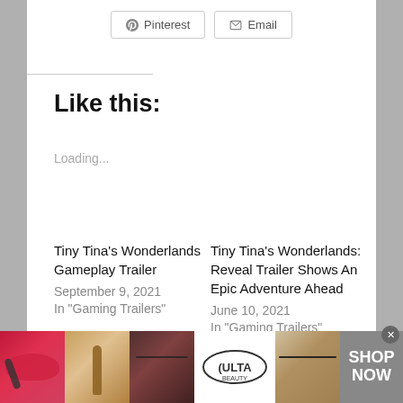[Figure (screenshot): Social share buttons: Pinterest and Email]
Like this:
Loading...
Tiny Tina's Wonderlands Gameplay Trailer
September 9, 2021
In "Gaming Trailers"
Tiny Tina's Wonderlands: Reveal Trailer Shows An Epic Adventure Ahead
June 10, 2021
In "Gaming Trailers"
[Figure (screenshot): Ulta Beauty advertisement banner with makeup imagery and SHOP NOW button]